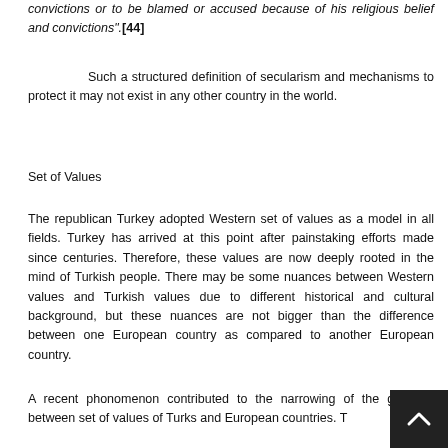convictions or to be blamed or accused because of his religious belief and convictions".[44]
Such a structured definition of secularism and mechanisms to protect it may not exist in any other country in the world.
Set of Values
The republican Turkey adopted Western set of values as a model in all fields. Turkey has arrived at this point after painstaking efforts made since centuries. Therefore, these values are now deeply rooted in the mind of Turkish people. There may be some nuances between Western values and Turkish values due to different historical and cultural background, but these nuances are not bigger than the difference between one European country as compared to another European country.
A recent phonomenon contributed to the narrowing of the gap between set of values of Turks and European countries. T